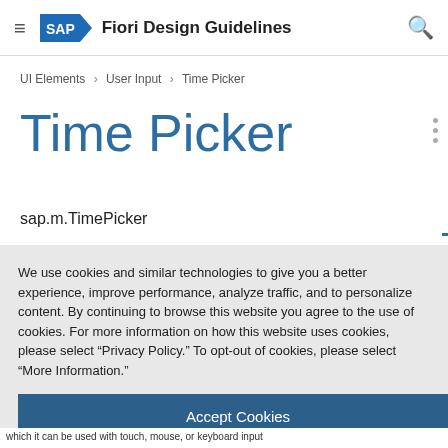SAP Fiori Design Guidelines
UI Elements > User Input > Time Picker
Time Picker
sap.m.TimePicker
We use cookies and similar technologies to give you a better experience, improve performance, analyze traffic, and to personalize content. By continuing to browse this website you agree to the use of cookies. For more information on how this website uses cookies, please select “Privacy Policy.” To opt-out of cookies, please select “More Information.”
Accept Cookies
More Information
Privacy Policy | Powered by: TrustArc